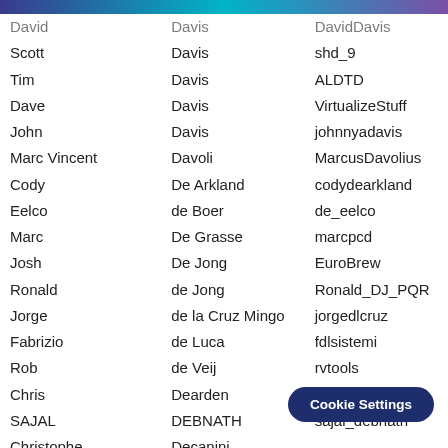| First Name | Last Name | Username |
| --- | --- | --- |
| David | Davis | DavidDavis |
| Scott | Davis | shd_9 |
| Tim | Davis | ALDTD |
| Dave | Davis | VirtualizeStuff |
| John | Davis | johnnyadavis |
| Marc Vincent | Davoli | MarcusDavolius |
| Cody | De Arkland | codydearkland |
| Eelco | de Boer | de_eelco |
| Marc | De Grasse | marcpcd |
| Josh | De Jong | EuroBrew |
| Ronald | de Jong | Ronald_DJ_PQR |
| Jorge | de la Cruz Mingo | jorgedlcruz |
| Fabrizio | de Luca | fdlsistemi |
| Rob | de Veij | rvtools |
| Chris | Dearden | chrisdearden |
| SAJAL | DEBNATH | sajal_debnath |
| Christophe | Decanini |  |
| Romain | Decker |  |